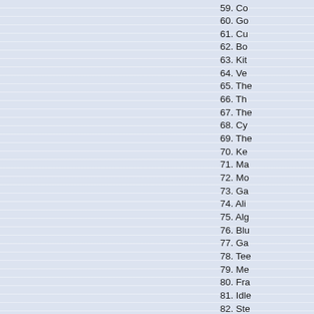59. Co
60. Go
61. Cu
62. Bo
63. Kit
64. Ve
65. The
66. Th
67. The
68. Cy
69. The
70. Ke
71. Ma
72. Mo
73. Ga
74. Ali
75. Alg
76. Blu
77. Ga
78. Tee
79. Me
80. Fra
81. Idle
82. Ste
83. Bal
84. Bro
85. Fa
86. The
87. Ne
88. An